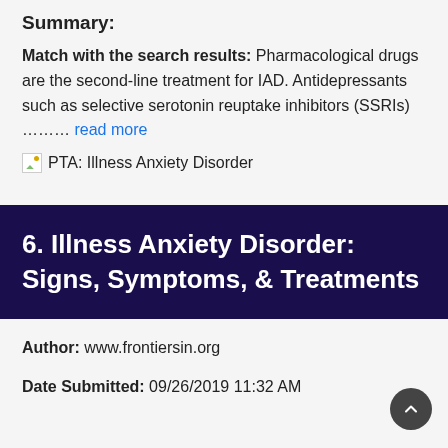Summary:
Match with the search results: Pharmacological drugs are the second-line treatment for IAD. Antidepressants such as selective serotonin reuptake inhibitors (SSRIs) ……… read more
[Figure (other): Broken image placeholder with label: PTA: Illness Anxiety Disorder]
6. Illness Anxiety Disorder: Signs, Symptoms, & Treatments
Author: www.frontiersin.org
Date Submitted: 09/26/2019 11:32 AM